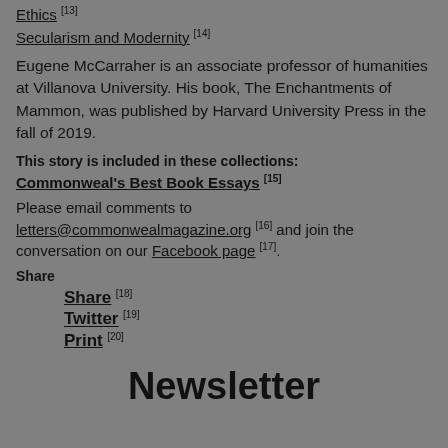Ethics [13]
Secularism and Modernity [14]
Eugene McCarraher is an associate professor of humanities at Villanova University. His book, The Enchantments of Mammon, was published by Harvard University Press in the fall of 2019.
This story is included in these collections:
Commonweal's Best Book Essays [15]
Please email comments to letters@commonwealmagazine.org [16] and join the conversation on our Facebook page [17].
Share
Share [18]
Twitter [19]
Print [20]
Newsletter